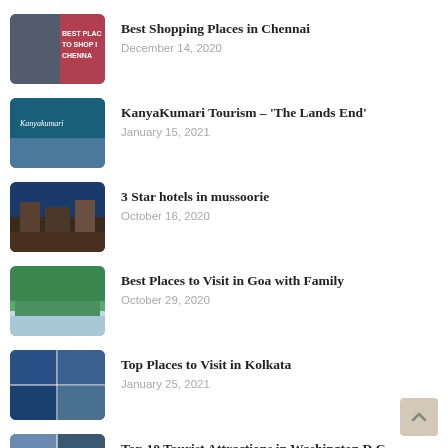Best Shopping Places in Chennai
December 14, 2020
KanyaKumari Tourism – 'The Lands End'
January 15, 2021
3 Star hotels in mussoorie
October 16, 2020
Best Places to Visit in Goa with Family
October 29, 2020
Top Places to Visit in Kolkata
January 25, 2021
Top 10 Tourist Attractions in Washington D.C.
January 18, 2021